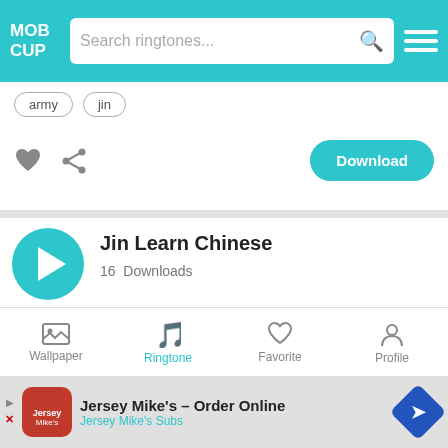MOB CUP — Search ringtones...
army
jin
[Figure (screenshot): Heart (favorite) icon and share icon buttons]
Download
Jin Learn Chinese
16  Downloads
chinese
jin
[Figure (screenshot): Heart (favorite) icon and share icon buttons]
Download
Wallpaper  Ringtone  Favorite  Profile
Jersey Mike's – Order Online
Jersey Mike's Subs